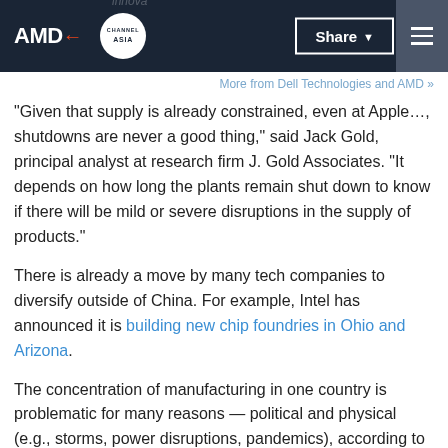AMD | Channel Asia | Share | Menu
More from Dell Technologies and AMD »
“Given that supply is already constrained, even at Apple…, shutdowns are never a good thing,” said Jack Gold, principal analyst at research firm J. Gold Associates. “It depends on how long the plants remain shut down to know if there will be mild or severe disruptions in the supply of products.”
There is already a move by many tech companies to diversify outside of China. For example, Intel has announced it is building new chip foundries in Ohio and Arizona.
The concentration of manufacturing in one country is problematic for many reasons — political and physical (e.g., storms, power disruptions, pandemics), according to Gold. But it’s also not so easy to just pick up and move production.